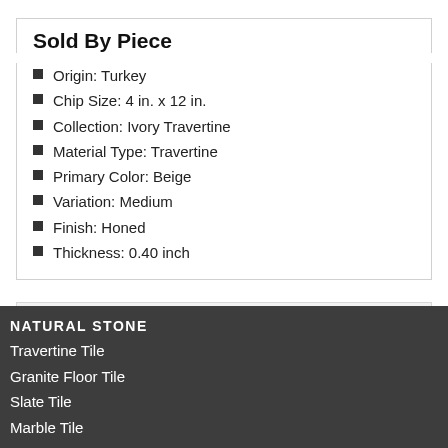Sold By Piece
Origin: Turkey
Chip Size: 4 in. x 12 in.
Collection: Ivory Travertine
Material Type: Travertine
Primary Color: Beige
Variation: Medium
Finish: Honed
Thickness: 0.40 inch
DESCRIPTION
NATURAL STONE
Travertine Tile
Granite Floor Tile
Slate Tile
Marble Tile